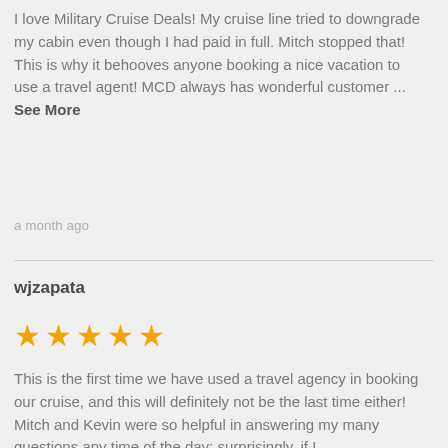I love Military Cruise Deals! My cruise line tried to downgrade my cabin even though I had paid in full. Mitch stopped that! This is why it behooves anyone booking a nice vacation to use a travel agent! MCD always has wonderful customer ...
See More
a month ago
wjzapata
[Figure (other): Five gold star rating icons]
This is the first time we have used a travel agency in booking our cruise, and this will definitely not be the last time either! Mitch and Kevin were so helpful in answering my many questions any time of the day; surprisingly, if I